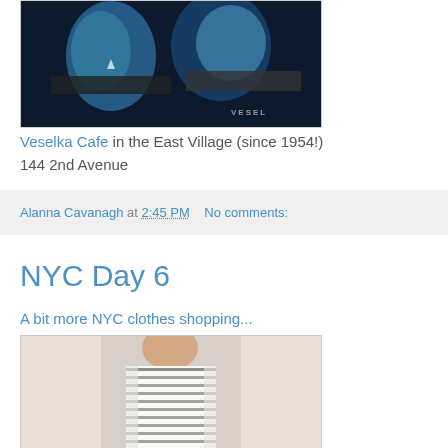[Figure (photo): Photo of Veselka Cafe mural/exterior showing figures dining with blue tones, star decoration, and VESEL text visible]
Veselka Cafe in the East Village (since 1954!)
144 2nd Avenue
Alanna Cavanagh at 2:45 PM   No comments:
NYC Day 6
A bit more NYC clothes shopping...
[Figure (photo): Photo of a woman wearing a black and white patterned sleeveless top, cropped at neck/torso area]